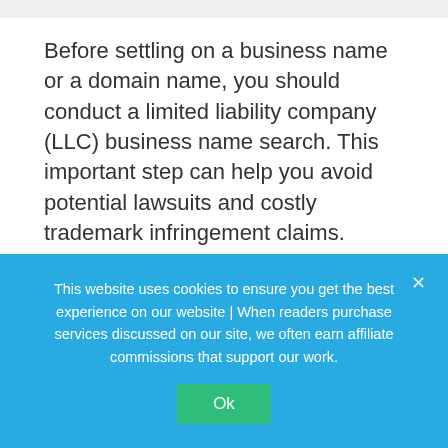Before settling on a business name or a domain name, you should conduct a limited liability company (LLC) business name search. This important step can help you avoid potential lawsuits and costly trademark infringement claims.
A trademarked name is a unique word or domain name a company uses to distinguish itself from
This website uses cookies to ensure you get the best experience on our website | When readers purchase services discussed on our site, we often earn affiliate commissions that support our work.
Ok